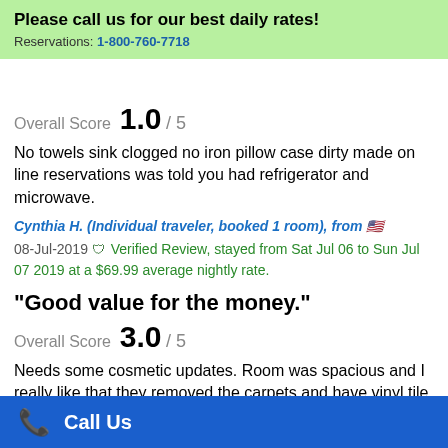Please call us for our best daily rates! Reservations: 1-800-760-7718
Overall Score 1.0 / 5
No towels sink clogged no iron pillow case dirty made on line reservations was told you had refrigerator and microwave.
Cynthia H. (Individual traveler, booked 1 room), from 🇺🇸 08-Jul-2019 Verified Review, stayed from Sat Jul 06 to Sun Jul 07 2019 at a $69.99 average nightly rate.
"Good value for the money."
Overall Score 3.0 / 5
Needs some cosmetic updates. Room was spacious and I really like that they removed the carpets and have vinyl tile instead.
Call Us